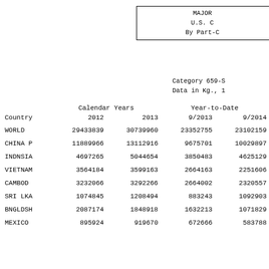MAJOR
U.S. C
By Part-C
Category 659-S
Data in Kg., 1
| Country | 2012 | 2013 | 9/2013 | 9/2014 |
| --- | --- | --- | --- | --- |
| WORLD | 29433839 | 30739960 | 23352755 | 23102159 |
| CHINA P | 11889966 | 13112916 | 9675701 | 10029897 |
| INDNSIA | 4697265 | 5044654 | 3850483 | 4625129 |
| VIETNAM | 3564184 | 3599163 | 2664163 | 2251606 |
| CAMBOD | 3232066 | 3292266 | 2664002 | 2320557 |
| SRI LKA | 1074845 | 1208494 | 883243 | 1092903 |
| BNGLDSH | 2087174 | 1848918 | 1632213 | 1071829 |
| MEXICO | 895924 | 919670 | 672666 | 583788 |